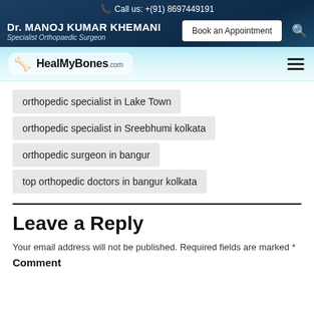Call us: +(91) 8697449191
Dr. MANOJ KUMAR KHEMANI | Specialist Orthopaedic Surgeon | Book an Appointment
[Figure (logo): HealMyBones.com logo with medical figure icon]
orthopedic specialist in Lake Town
orthopedic specialist in Sreebhumi kolkata
orthopedic surgeon in bangur
top orthopedic doctors in bangur kolkata
Leave a Reply
Your email address will not be published. Required fields are marked *